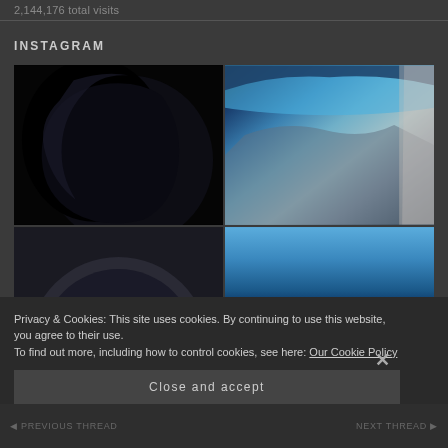2,144,176 total visits
INSTAGRAM
[Figure (photo): Dark crescent planet against black space background]
[Figure (photo): Earth's surface and atmosphere viewed from space, showing terrain and blue atmospheric glow]
[Figure (photo): Partial view of a planet, cropped at bottom of grid]
[Figure (photo): Blue gradient image, possibly sky or ocean from space]
Privacy & Cookies: This site uses cookies. By continuing to use this website, you agree to their use.
To find out more, including how to control cookies, see here: Our Cookie Policy
Close and accept
PREVIOUS THREAD   NEXT THREAD